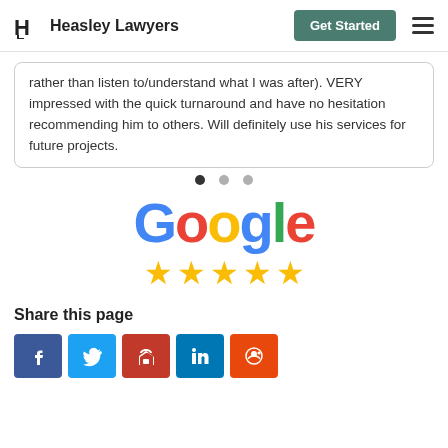Heasley Lawyers | Get Started
rather than listen to/understand what I was after). VERY impressed with the quick turnaround and have no hesitation recommending him to others. Will definitely use his services for future projects.
[Figure (other): Carousel pagination dots: three dots, first one filled/active]
[Figure (logo): Google logo with five gold stars rating below it]
Share this page
[Figure (infographic): Social sharing buttons: Facebook, Twitter, Email, LinkedIn, Reddit]